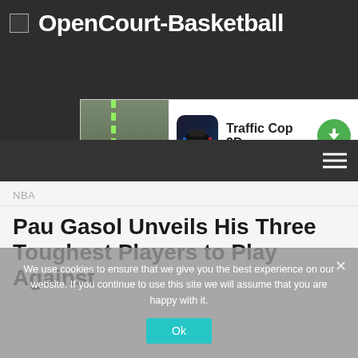OpenCourt-Basketball
[Figure (screenshot): Advertisement banner for Traffic Cop 3D mobile game showing road/crosswalk scene on left, app icon, text 'Traffic Cop 3D', and green download button on right]
NBA
Pau Gasol Unveils His Three Toughest Players to Play Against
We use cookies to ensure that we give you the best experience on our website. If you continue to use this site we will assume that you are happy with it.
Ok